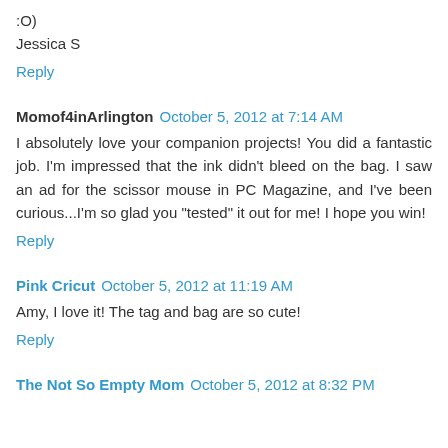:O)
Jessica S
Reply
Momof4inArlington   October 5, 2012 at 7:14 AM
I absolutely love your companion projects! You did a fantastic job. I'm impressed that the ink didn't bleed on the bag. I saw an ad for the scissor mouse in PC Magazine, and I've been curious...I'm so glad you "tested" it out for me! I hope you win!
Reply
Pink Cricut   October 5, 2012 at 11:19 AM
Amy, I love it! The tag and bag are so cute!
Reply
The Not So Empty Mom   October 5, 2012 at 8:32 PM